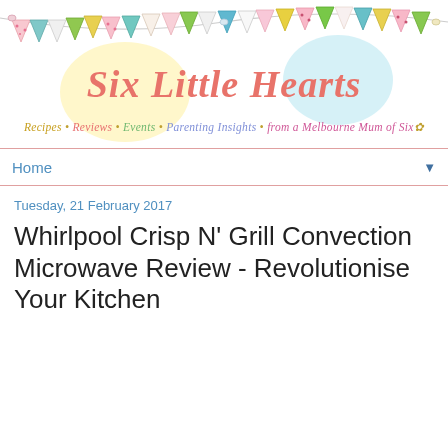[Figure (illustration): Blog header banner with colorful bunting/pennant flags across the top, pastel yellow and blue circles in the background, and the blog title 'Six Little Hearts' in large coral/pink italic script font, with tagline 'Recipes • Reviews • Events • Parenting Insights • from a Melbourne Mum of Six' below in colored italic text]
Home ▼
Tuesday, 21 February 2017
Whirlpool Crisp N' Grill Convection Microwave Review - Revolutionise Your Kitchen
[Figure (photo): Circular cropped photo of a Whirlpool Crisp N' Grill Microwave in red/white with a green LED display showing 17:39, with 'DESIGNED TO DELIGHT' text on the front panel and a label at the bottom reading 'Whirlpool Crisp N' Grill Microwave']